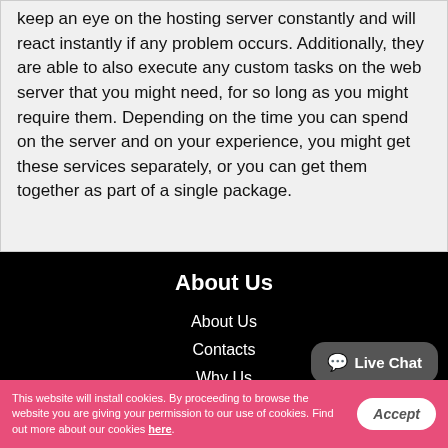keep an eye on the hosting server constantly and will react instantly if any problem occurs. Additionally, they are able to also execute any custom tasks on the web server that you might need, for so long as you might require them. Depending on the time you can spend on the server and on your experience, you might get these services separately, or you can get them together as part of a single package.
About Us
About Us
Contacts
Why Us
Website Migration
[Figure (other): Live Chat button/bubble widget in bottom-right of dark footer area]
This website will install cookies. By proceeding to browse the website you are giving your permission to our use of cookies. Find out more about our cookies here.